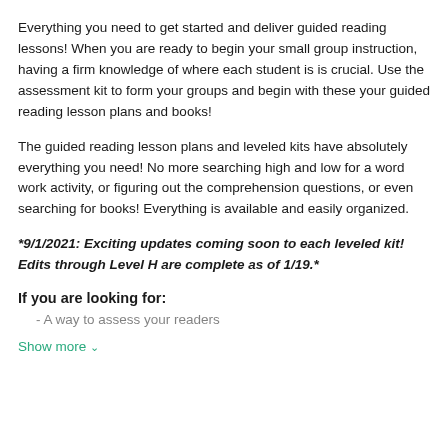Everything you need to get started and deliver guided reading lessons! When you are ready to begin your small group instruction, having a firm knowledge of where each student is is crucial. Use the assessment kit to form your groups and begin with these your guided reading lesson plans and books!
The guided reading lesson plans and leveled kits have absolutely everything you need! No more searching high and low for a word work activity, or figuring out the comprehension questions, or even searching for books! Everything is available and easily organized.
*9/1/2021: Exciting updates coming soon to each leveled kit! Edits through Level H are complete as of 1/19.*
If you are looking for:
A way to assess your readers
Show more